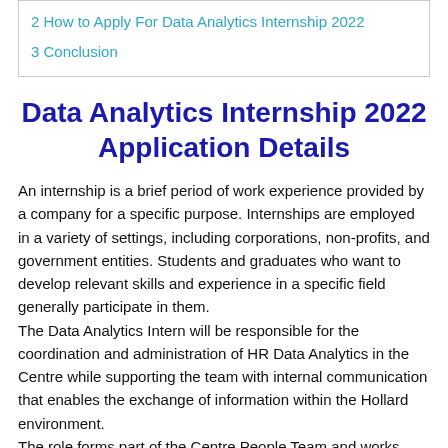2 How to Apply For Data Analytics Internship 2022
3 Conclusion
Data Analytics Internship 2022 Application Details
An internship is a brief period of work experience provided by a company for a specific purpose. Internships are employed in a variety of settings, including corporations, non-profits, and government entities. Students and graduates who want to develop relevant skills and experience in a specific field generally participate in them.
The Data Analytics Intern will be responsible for the coordination and administration of HR Data Analytics in the Centre while supporting the team with internal communication that enables the exchange of information within the Hollard environment.
The role forms part of the Centre People Team and works closely in